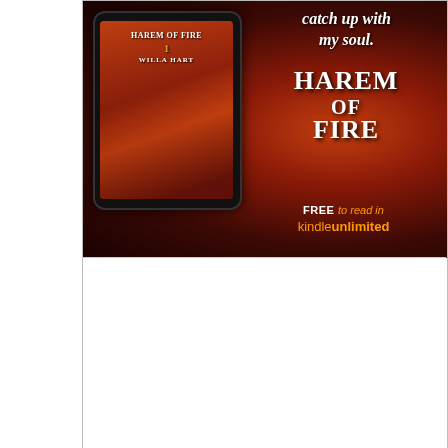[Figure (illustration): Book advertisement for 'Harem of Fire' by Willa Hart. Dark fiery red background with a woman in golden dress. Left side shows a tablet/e-reader displaying the book cover with title 'Harem of Fire 1' and author name 'Willa Hart'. Right side shows text: tagline 'catch up with my soul.', large title 'HAREM OF FIRE', and 'FREE to read in kindle unlimited'. Bottom half of page is white/blank.]